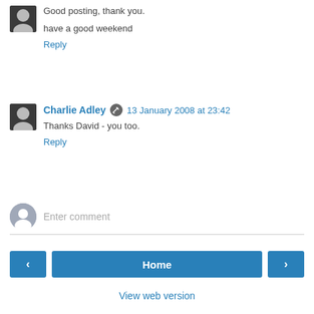Good posting, thank you.
have a good weekend
Reply
Charlie Adley  13 January 2008 at 23:42
Thanks David - you too.
Reply
Enter comment
Home
View web version